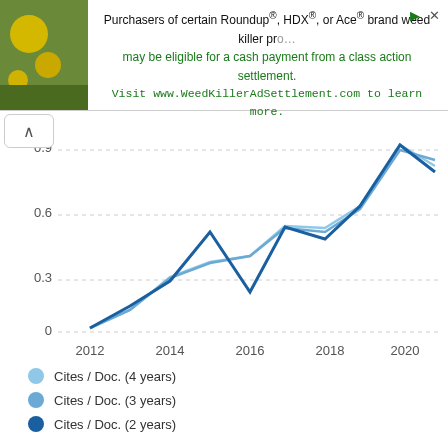[Figure (other): Advertisement banner for weed killer class action settlement with plant image]
[Figure (line-chart): Cites / Doc. over years]
Cites / Doc. (4 years)
Cites / Doc. (3 years)
Cites / Doc. (2 years)